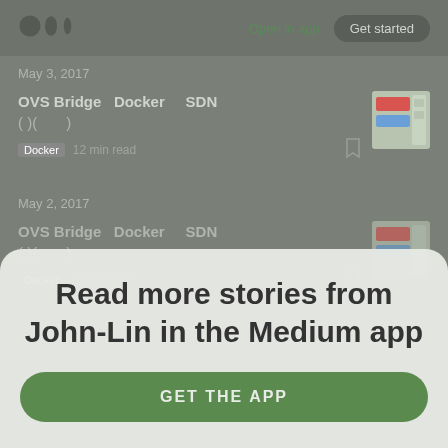Open in app | Get started
May 3, 2017
OVS Bridge Docker SDN ( )( )
Docker · 12 min read
May 2, 2017
OVS Bridge Docker SDN ( )( )
Docker · 5 min read
Read more stories from John-Lin in the Medium app
GET THE APP